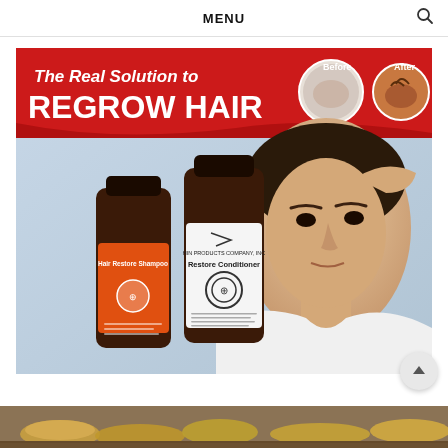MENU
[Figure (photo): Advertisement image for hair regrowth products. Red banner at top reads 'The Real Solution to REGROW HAIR' with before/after circular inset images showing scalp hair regrowth. Two dark brown shampoo/conditioner bottles labeled 'Hair Restore Shampoo' and 'Restore Conditioner' in foreground. A young man with dark hair touching his head in background.]
[Figure (photo): Partial bottom strip image showing what appears to be ginger roots or similar food items on a wooden surface.]